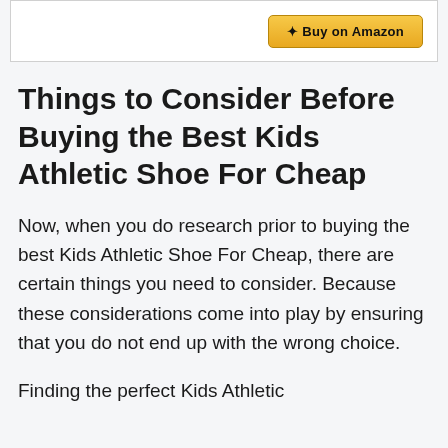[Figure (other): Amazon buy button (partial, top-cropped) inside a white bordered box]
Things to Consider Before Buying the Best Kids Athletic Shoe For Cheap
Now, when you do research prior to buying the best Kids Athletic Shoe For Cheap, there are certain things you need to consider. Because these considerations come into play by ensuring that you do not end up with the wrong choice.
Finding the perfect Kids Athletic